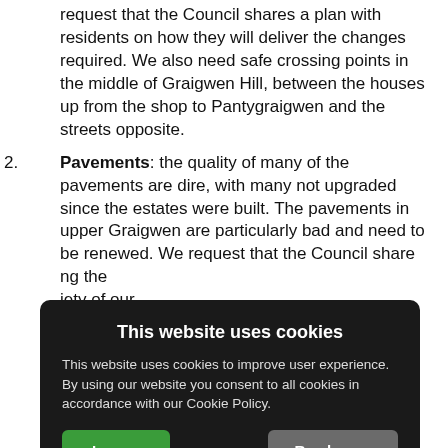request that the Council shares a plan with residents on how they will deliver the changes required. We also need safe crossing points in the middle of Graigwen Hill, between the houses up from the shop to Pantygraigwen and the streets opposite.
Pavements: the quality of many of the pavements are dire, with many not upgraded since the estates were built. The pavements in upper Graigwen are particularly bad and need to be renewed. We request that the Council share [obscured by cookie banner] the [obscured] iety of our [obscured] near junctions [obscured] would like to [obscured] e approach to [obscured] double yellow [obscured] top [obscured] o stop people from parking on pavements and forcing
[Figure (screenshot): Cookie consent modal with dark background. Title: 'This website uses cookies'. Body text: 'This website uses cookies to improve user experience. By using our website you consent to all cookies in accordance with our Cookie Policy.' Two buttons: 'I agree' (green) and 'Read more' (grey). Footer: 'Free cookie consent by cookie-script.com']